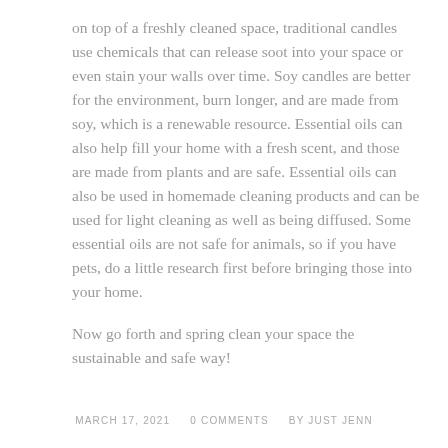on top of a freshly cleaned space, traditional candles use chemicals that can release soot into your space or even stain your walls over time. Soy candles are better for the environment, burn longer, and are made from soy, which is a renewable resource. Essential oils can also help fill your home with a fresh scent, and those are made from plants and are safe. Essential oils can also be used in homemade cleaning products and can be used for light cleaning as well as being diffused. Some essential oils are not safe for animals, so if you have pets, do a little research first before bringing those into your home.
Now go forth and spring clean your space the sustainable and safe way!
MARCH 17, 2021   0 COMMENTS   BY JUST JENN